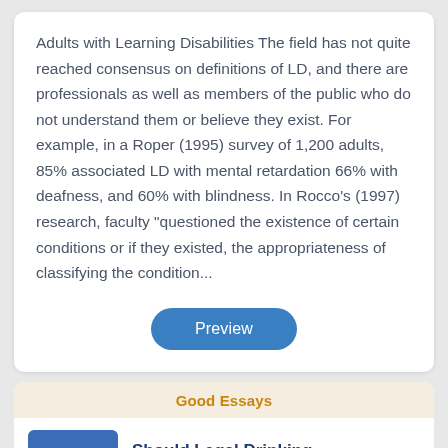Adults with Learning Disabilities The field has not quite reached consensus on definitions of LD, and there are professionals as well as members of the public who do not understand them or believe they exist. For example, in a Roper (1995) survey of 1,200 adults, 85% associated LD with mental retardation 66% with deafness, and 60% with blindness. In Rocco's (1997) research, faculty "questioned the existence of certain conditions or if they existed, the appropriateness of classifying the condition...
[Figure (other): Blue rounded rectangle button labeled 'Preview']
Good Essays
Should Legal Drinking